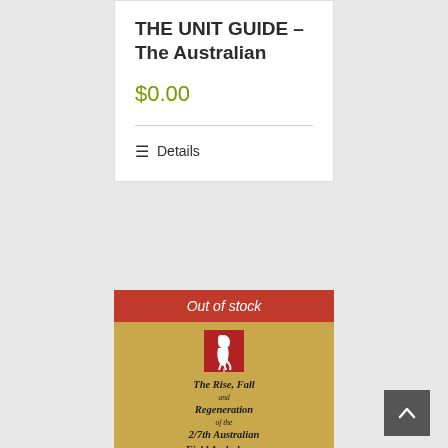THE UNIT GUIDE – The Australian
$0.00
≡ Details
[Figure (screenshot): Book product card showing 'Out of stock' banner in red, book cover with tan/gold background showing title: The Rise, Fall and Regeneration of the 2/7th Australian Field Ambulance, A.I.F. in World War II, with a red badge/emblem at top]
[Figure (other): Scroll-to-top button, dark grey square with upward chevron arrow]